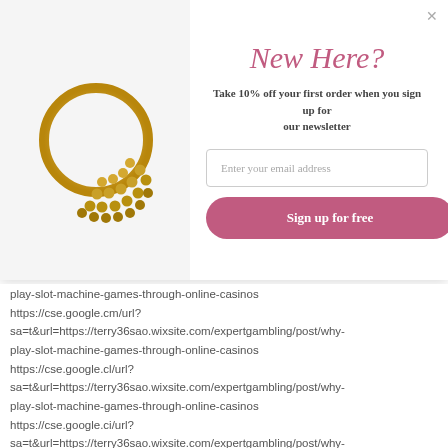[Figure (photo): Gold decorative ring/nose ring with beaded fan-shaped design on a light grey background]
New Here?
Take 10% off your first order when you sign up for our newsletter
Enter your email address
Sign up for free
play-slot-machine-games-through-online-casinos https://cse.google.cm/url?sa=t&url=https://terry36sao.wixsite.com/expertgambling/post/why-play-slot-machine-games-through-online-casinos https://cse.google.cl/url?sa=t&url=https://terry36sao.wixsite.com/expertgambling/post/why-play-slot-machine-games-through-online-casinos https://cse.google.ci/url?sa=t&url=https://terry36sao.wixsite.com/expertgambling/post/why-play-slot-machine-games-through-online-casinos https://cse.google.ch/url?